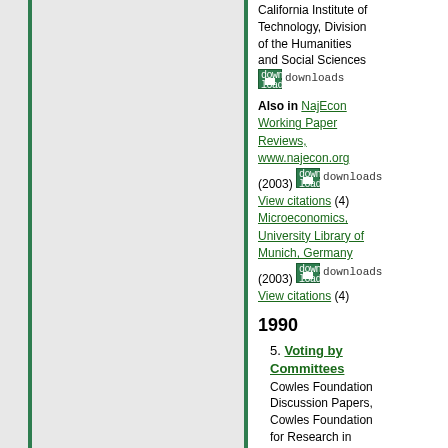California Institute of Technology, Division of the Humanities and Social Sciences downloads
Also in NajEcon Working Paper Reviews, www.najecon.org (2003) downloads View citations (4) Microeconomics, University Library of Munich, Germany (2003) downloads View citations (4)
1990
5. Voting by Committees
Cowles Foundation Discussion Papers, Cowles Foundation for Research in Economics, Yale University
downloads View citations (6)
See also Journal Article in Econometrica (1991)